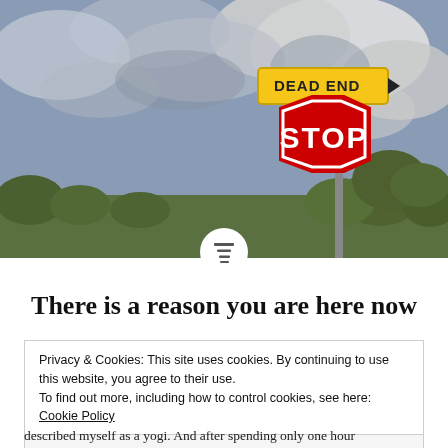[Figure (photo): Photo of a red stop sign below a yellow Dead End street sign pointing right, with a dramatic cloudy sky and trees in background]
There is a reason you are here now
Privacy & Cookies: This site uses cookies. By continuing to use this website, you agree to their use.
To find out more, including how to control cookies, see here: Cookie Policy
Close and accept
described myself as a yogi. And after spending only one hour